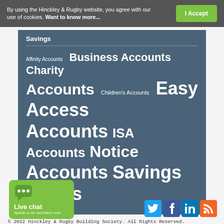By using the Hinckley & Rugby website, you agree with our use of cookies. Want to know more...
I Accept
Savings
[Figure (infographic): Tag cloud for savings account types: Affinity Accounts (small), Business Accounts (large), Charity Accounts (large), Children's Accounts (medium), Easy Access Accounts (extra large), ISA Accounts (medium-large), Notice Accounts (large), Savings Bonds (large)]
© 2022 Hinckley & Rugby Building Society. All Rights Reserved. To help maintain service and quality, some telephone calls may be recorded and monitored. Hinckley & Rugby Building Society is authorised by the Prudential Regulation Authority and regulated by the Financial Conduct Authority and Prudential Regulation Authority. The Society's registration number is 206043.
Live chat
Speak to an assistant now